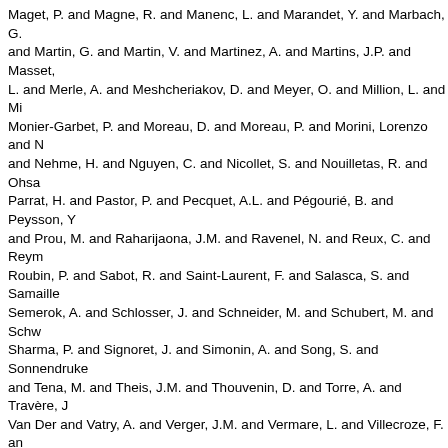Maget, P. and Magne, R. and Manenc, L. and Marandet, Y. and Marbach, G. and Martin, G. and Martin, V. and Martinez, A. and Martins, J.P. and Masset, L. and Merle, A. and Meshcheriakov, D. and Meyer, O. and Million, L. and Mi Monier-Garbet, P. and Moreau, D. and Moreau, P. and Morini, Lorenzo and N and Nehme, H. and Nguyen, C. and Nicollet, S. and Nouilletas, R. and Ohsa Parrat, H. and Pastor, P. and Pecquet, A.L. and Pégourié, B. and Peysson, Y and Prou, M. and Raharijaona, J.M. and Ravenel, N. and Reux, C. and Reym Roubin, P. and Sabot, R. and Saint-Laurent, F. and Salasca, S. and Samaille Semerok, A. and Schlosser, J. and Schneider, M. and Schubert, M. and Schw Sharma, P. and Signoret, J. and Simonin, A. and Song, S. and Sonnendruke and Tena, M. and Theis, J.M. and Thouvenin, D. and Torre, A. and Travère, J Van Der and Vatry, A. and Verger, J.M. and Vermare, L. and Villecroze, F. and Wagrez, J. and Wauters, T. and Zani, L. and Zarzoso, D. and Zou, X.L. Contr Nuclear Fusion, 51 (9). 094014. ISSN 0029-5515 (2011)
Saoutic, B. and Abiteboul, J. and Allegretti, L. and Allfrey, S. and Ané, J.M. and and Aumenier, M.H. and Balme, S. and Basiuk, V. and Baulaigue, O. and Ba Benkadda, M.S. and Benoit, F. and Berger-by, G. and Bernard, J.M. and Ber J. and Boilson, D. and Bonhomme, G. and Bottollier-Curtet, H. and Bouchan Bourmaud, S. and Brault, C. and Brémond, S. and Brosset, C. and Bucaloss Catherine-Dumont, V. and Casati, A. and Chantant, M. and Chatelier, M. and and Clairet, F. and Coatanea-Gouachet, M. and Colas, L. and Commin, L. and Dachicourt, R. and Febrer, M. Dapena and Joanny, M. Davi and Daviot, R. a and Delaporte, P. and Delchambre, E. and Delmas, E. and Delpech, L. and D and Doceul, L. and Douai, D. and Dougnac, H. and Duchateau, J.L. and Dug Durocher, A. and Duthoit, F.X. and Ekedahl, A. and Elbeze, D. and Khaldi, M Falchetto, G. and Farge, M. and Farjon, J.L. and Faury, M. and Fedorczak, N Frauel, Y. and Garbet, X. and Garcia, J. and Gardarein, J.L. and Gargiulo, L. and Géraud, A. and Geynet, M. and Ghendrih, P. and Giacalone, I. and Gibe and Grandgirard, V. and Grisolia, C. and Gros, G. and Grosman, A. and Gu